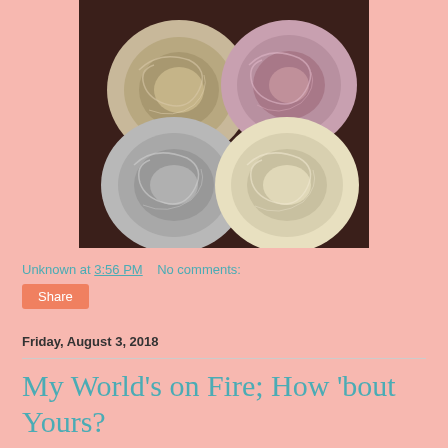[Figure (photo): Four balls/cakes of yarn arranged in a 2x2 grid on a dark wooden surface. Top-left: beige/tan yarn. Top-right: pink/mauve yarn. Bottom-left: gray/white yarn. Bottom-right: cream/ivory yarn.]
Unknown at 3:56 PM    No comments:
Share
Friday, August 3, 2018
My World's on Fire; How 'bout Yours?